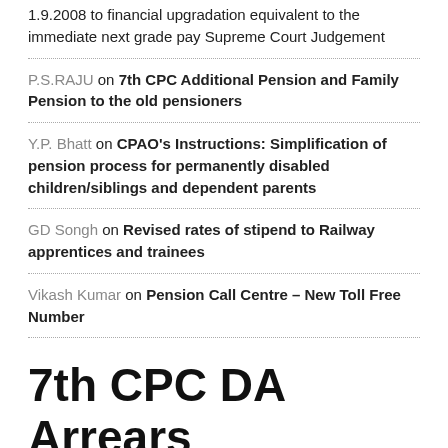1.9.2008 to financial upgradation equivalent to the immediate next grade pay Supreme Court Judgement
P.S.RAJU on 7th CPC Additional Pension and Family Pension to the old pensioners
Y.P. Bhatt on CPAO's Instructions: Simplification of pension process for permanently disabled children/siblings and dependent parents
GD Songh on Revised rates of stipend to Railway apprentices and trainees
Vikash Kumar on Pension Call Centre – New Toll Free Number
7th CPC DA Arrears Ready Reckoner Tables